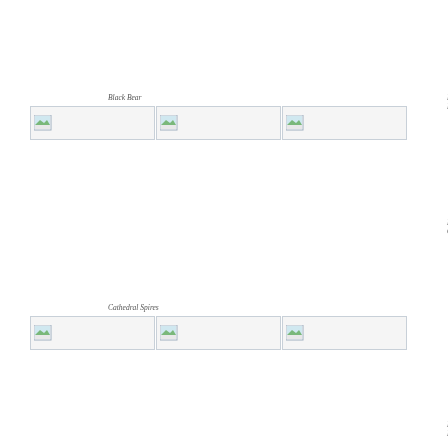Black Bear
Black Bear
Bowers and Ski in Lake Tenaya
[Figure (photo): Image placeholder 1 - Black Bear]
[Figure (photo): Image placeholder 2 - Black Bear]
[Figure (photo): Image placeholder 3 - Bowers and Ski in Lake Tenaya]
El Capitan
El Capitan
Cathedral Spires
[Figure (photo): Image placeholder 4 - Cathedral Spires]
[Figure (photo): Image placeholder 5 - El Capitan]
[Figure (photo): Image placeholder 6 - El Capitan]
Half Dome